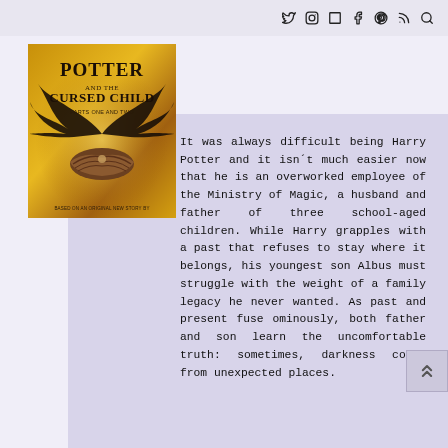Social media icons: twitter, instagram, bookmark, facebook, pinterest, rss, search
[Figure (illustration): Book cover of Harry Potter and the Cursed Child, Parts One and Two, featuring a bird's nest with wings against a golden background]
It was always difficult being Harry Potter and it isn´t much easier now that he is an overworked employee of the Ministry of Magic, a husband and father of three school-aged children. While Harry grapples with a past that refuses to stay where it belongs, his youngest son Albus must struggle with the weight of a family legacy he never wanted. As past and present fuse ominously, both father and son learn the uncomfortable truth: sometimes, darkness comes from unexpected places.